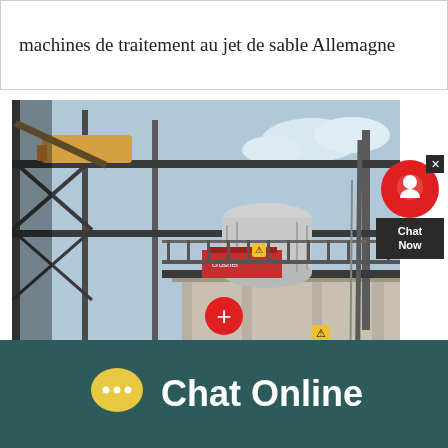machines de traitement au jet de sable Allemagne
[Figure (photo): Industrial sandblasting treatment machine facility showing a multi-story steel structure with conveyors, machinery, and concrete supports outdoors.]
Chat Now
Chat Online